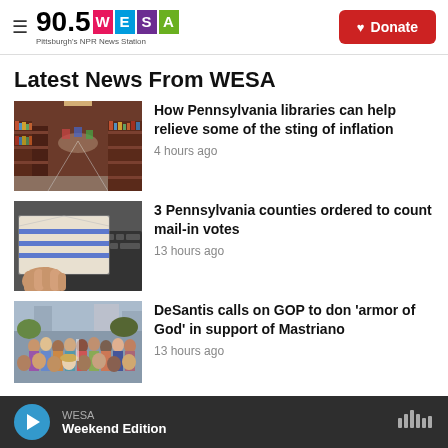90.5 WESA Pittsburgh's NPR News Station | Donate
Latest News From WESA
[Figure (photo): Interior of a library with shelves of books on both sides]
How Pennsylvania libraries can help relieve some of the sting of inflation
4 hours ago
[Figure (photo): A hand holding mail-in ballots with blue stripes]
3 Pennsylvania counties ordered to count mail-in votes
13 hours ago
[Figure (photo): Crowd of people gathered outdoors]
DeSantis calls on GOP to don 'armor of God' in support of Mastriano
13 hours ago
WESA — Weekend Edition